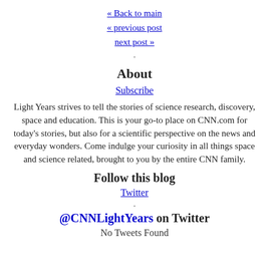« Back to main
« previous post
next post »
About
Subscribe
Light Years strives to tell the stories of science research, discovery, space and education. This is your go-to place on CNN.com for today's stories, but also for a scientific perspective on the news and everyday wonders. Come indulge your curiosity in all things space and science related, brought to you by the entire CNN family.
Follow this blog
Twitter
@CNNLightYears on Twitter
No Tweets Found